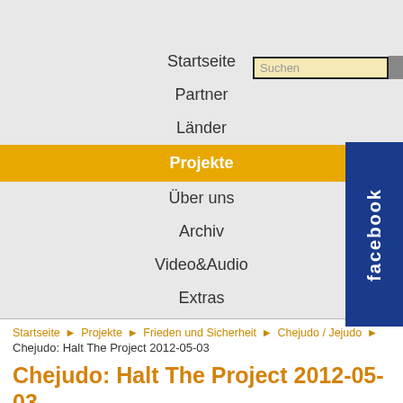Startseite | Partner | Länder | Projekte | Über uns | Archiv | Video&Audio | Extras | Suchen
Chejudo: Halt The Project 2012-05-03
Drucken | E-Mail
Weekly Appeal for May 3, 2012